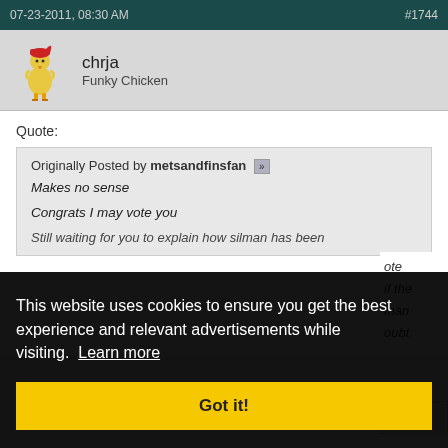07-23-2011, 08:30 AM  #1744
chrja
Funky Chicken
Quote:
Originally Posted by metsandfinsfan
Makes no sense

Congrats I may vote you

Still waiting for you to explain how silman has been
ote
if the
man
oubt
This website uses cookies to ensure you get the best experience and relevant advertisements while visiting. Learn more
Got it!
ote